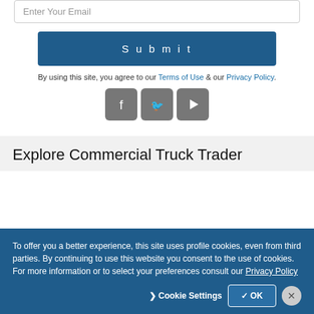Enter Your Email
Submit
By using this site, you agree to our Terms of Use & our Privacy Policy.
[Figure (other): Social media icons: Facebook, Twitter, YouTube]
Explore Commercial Truck Trader
To offer you a better experience, this site uses profile cookies, even from third parties. By continuing to use this website you consent to the use of cookies. For more information or to select your preferences consult our Privacy Policy
❯ Cookie Settings   ✓ OK   ✕